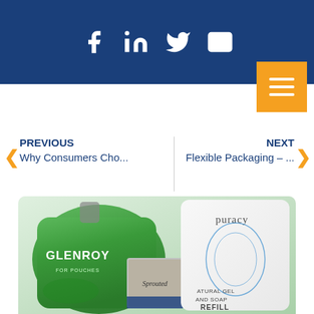Social media icons: Facebook, LinkedIn, Twitter, Email
[Figure (screenshot): Orange hamburger menu button with three white horizontal lines]
PREVIOUS
Why Consumers Cho...
NEXT
Flexible Packaging – ...
[Figure (photo): Flexible packaging products: Glenroy green spout pouch, Sprouted foil packet, Puracy natural gel and soap refill white pouch]